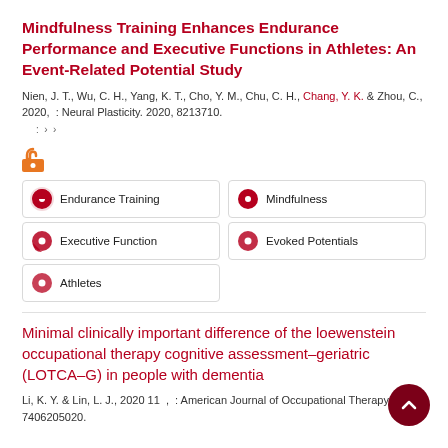Mindfulness Training Enhances Endurance Performance and Executive Functions in Athletes: An Event-Related Potential Study
Nien, J. T., Wu, C. H., Yang, K. T., Cho, Y. M., Chu, C. H., Chang, Y. K. & Zhou, C., 2020, : Neural Plasticity. 2020, 8213710.
[Figure (other): Open access icon (orange padlock symbol)]
Endurance Training
Mindfulness
Executive Function
Evoked Potentials
Athletes
Minimal clinically important difference of the loewenstein occupational therapy cognitive assessment–geriatric (LOTCA–G) in people with dementia
Li, K. Y. & Lin, L. J., 2020 11 , : American Journal of Occupational Therapy. 74, 6, 7406205020.